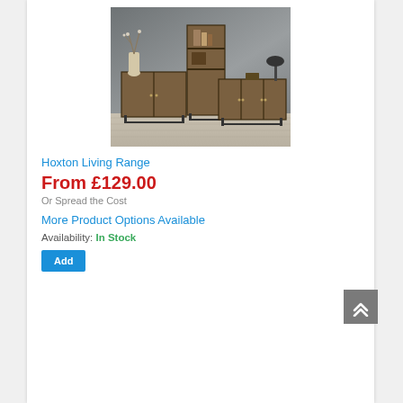[Figure (photo): Product photo of Hoxton Living Range furniture: two wooden sideboards with black metal legs and a tall bookcase/display unit, set against a grey concrete-look wall with light wood flooring. A white ceramic vase with branches is on the left sideboard, and a desk lamp on the right sideboard.]
Hoxton Living Range
From £129.00
Or Spread the Cost
More Product Options Available
Availability: In Stock